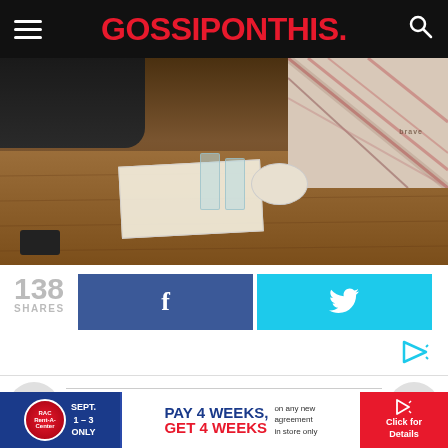GOSSIPONTHIS.
[Figure (photo): People sitting at a restaurant table with food and drinks, viewed from above. One person in a dark jacket on the left, one in a plaid shirt on the right. Table has menus, glasses, dishes.]
138 SHARES
[Figure (infographic): Social share buttons: Facebook (blue) and Twitter (cyan) share buttons]
[Figure (infographic): Small triangular ad icon in cyan/teal color]
[Figure (infographic): Amazon Music player bar: Play the Latest Hits on Amazon Music Unlimited (ad)]
[Figure (infographic): RAC advertisement banner: SEPT. 1-3 ONLY PAY 4 WEEKS, GET 4 WEEKS on any new agreement in store only. Click for Details.]